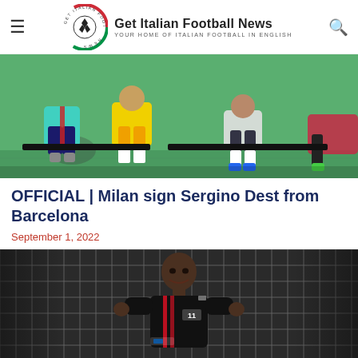Get Italian Football News — YOUR HOME OF ITALIAN FOOTBALL IN ENGLISH
[Figure (photo): Football players sitting on the ground during training, wearing colorful kits on green grass]
OFFICIAL | Milan sign Sergino Dest from Barcelona
September 1, 2022
[Figure (photo): A footballer in a black kit standing in front of a goal net]